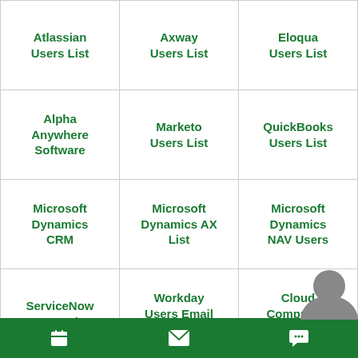| Atlassian Users List | Axway Users List | Eloqua Users List |
| Alpha Anywhere Software | Marketo Users List | QuickBooks Users List |
| Microsoft Dynamics CRM | Microsoft Dynamics AX List | Microsoft Dynamics NAV Users |
| ServiceNow Users List | Workday Users Email List | Cloud Computing Users List |
Calendar | Email | Chat